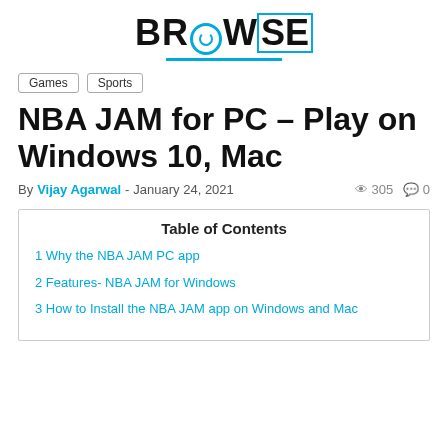BROWSE
Games
Sports
NBA JAM for PC – Play on Windows 10, Mac
By Vijay Agarwal - January 24, 2021   305   0
Table of Contents
1 Why the NBA JAM PC app
2 Features- NBA JAM for Windows
3 How to Install the NBA JAM app on Windows and Mac